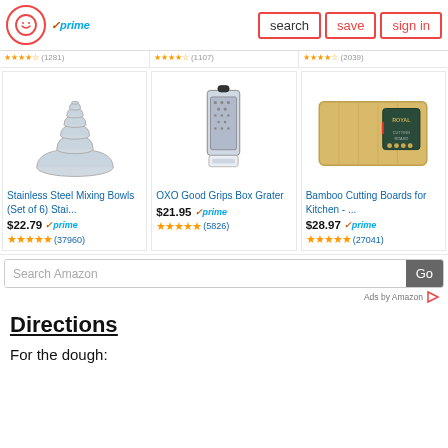search | save | sign in
[Figure (screenshot): Partial product row with star ratings and review counts (1281), (1107), (2039) partially visible]
[Figure (screenshot): Three Amazon product cards: Stainless Steel Mixing Bowls (Set of 6) Stai... $22.79 prime (37960 reviews), OXO Good Grips Box Grater $21.95 prime (5826 reviews), Bamboo Cutting Boards for Kitchen - ... $28.97 prime (27041 reviews)]
[Figure (screenshot): Search Amazon search bar with Go button and Ads by Amazon label]
Directions
For the dough: